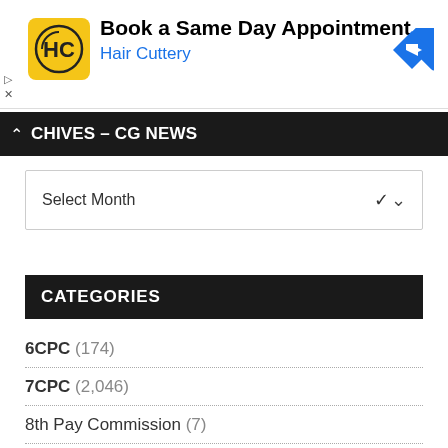[Figure (infographic): Hair Cuttery advertisement banner with HC logo and 'Book a Same Day Appointment' text, navigation arrow icon on right, ad controls (play/close) on left]
ARCHIVES – CG NEWS
Select Month
CATEGORIES
6CPC (174)
7CPC (2,046)
8th Pay Commission (7)